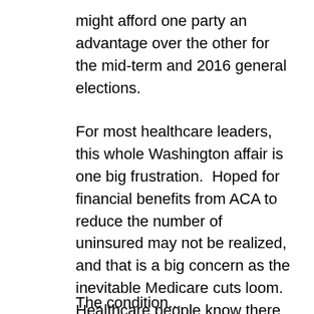might afford one party an advantage over the other for the mid-term and 2016 general elections.
For most healthcare leaders, this whole Washington affair is one big frustration. Hoped for financial benefits from ACA to reduce the number of uninsured may not be realized, and that is a big concern as the inevitable Medicare cuts loom. Healthcare people know there are serious problems with Obamacare that need fixing. They also know that ACA is probably with us to stay and that to sit around and do nothing will yield an even worse outcome for America's struggling healthcare industry.
The condition...